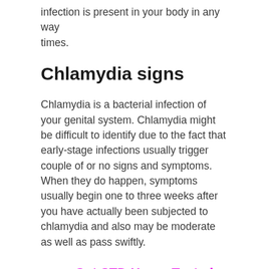infection is present in your body in any way times.
Chlamydia signs
Chlamydia is a bacterial infection of your genital system. Chlamydia might be difficult to identify due to the fact that early-stage infections usually trigger couple of or no signs and symptoms. When they do happen, symptoms usually begin one to three weeks after you have actually been subjected to chlamydia and also may be moderate as well as pass swiftly.
>> Get STD Home-Tested Today For Peace Of Mind <<